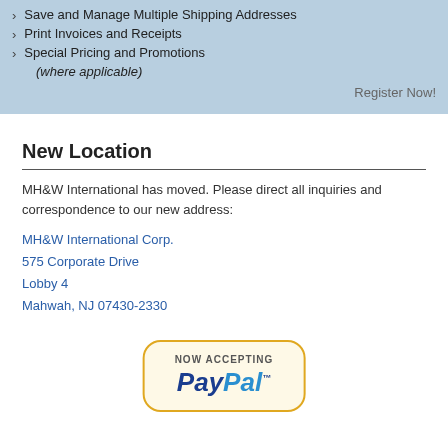Save and Manage Multiple Shipping Addresses
Print Invoices and Receipts
Special Pricing and Promotions (where applicable)
Register Now!
New Location
MH&W International has moved. Please direct all inquiries and correspondence to our new address:
MH&W International Corp.
575 Corporate Drive
Lobby 4
Mahwah, NJ 07430-2330
[Figure (logo): PayPal NOW ACCEPTING badge with rounded rectangle border in gold/beige, showing 'NOW ACCEPTING' text above 'PayPal' logo with trademark symbol]